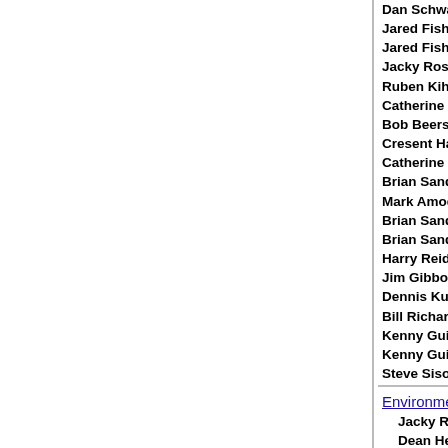Dan Schwartz: Enthusiast for the future of renewable...
Jared Fisher: Clean energy means jobs.
Jared Fisher: Renewable energy makes economic s...
Jacky Rosen: Fight turning Yucca Mountain into a n...
Ruben Kihuen: Transfer money from big oil to renew...
Catherine Cortez Masto: Yucca Mountain is dead; fi...
Bob Beers: Consider safety risks & surroundings of Y...
Cresent Hardy: Talk about pro's and con's of Yucca M...
Catherine Cortez Masto: Fight making Yucca Mount...
Brian Sandoval: Energy efficiency retrofits add value...
Mark Amodei: More drilling & more oil refineries.
Brian Sandoval: Renewables like solar & geotherma...
Brian Sandoval: Access federal land to make NV re...
Harry Reid: BP and oil companies need regulation.
Jim Gibbons: Build facilities to generate solar, wind &...
Dennis Kucinich: Voted against drilling in Alaska, ag...
Bill Richardson: Mandatory emissions reductions to...
Kenny Guinn: Delay power deregulation until protec...
Kenny Guinn: $5M to fight becoming the nation's nu...
Steve Sisolak: Encourage cleaner burning fuels; but...
Environment
Jacky Rosen: Applauds EPA funding to protect Nevat...
Dean Heller: $230M for Public Land Management ar...
Adam Laxalt: Remains open only to necessary regu...
Jared Fisher: Teddy Roosevelt environmentalist: Exp...
Jared Fisher: Eco-tourism promotes economy AND ...
Jared Fisher: Republican voters care about environm...
Jacky Rosen: EPA should rely on facts, not fake nev...
Ruben Kihuen: Polluters have determined our enviro...
Catherine Cortez Masto: Endorsed by Sierra Club fo...
Bob Beers: Require voter approval for $200M socce...